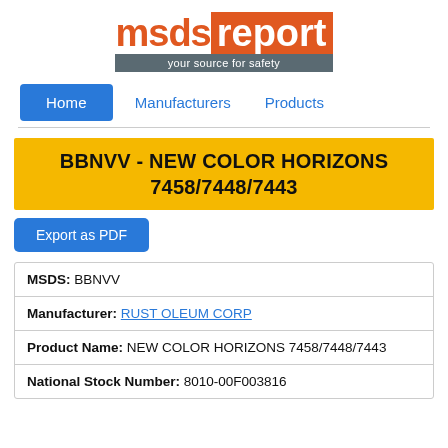[Figure (logo): msdsreport logo with orange text and tagline 'your source for safety' on grey background]
Home | Manufacturers | Products
BBNVV - NEW COLOR HORIZONS 7458/7448/7443
Export as PDF
| MSDS: BBNVV |
| Manufacturer: RUST OLEUM CORP |
| Product Name: NEW COLOR HORIZONS 7458/7448/7443 |
| National Stock Number: 8010-00F003816 |